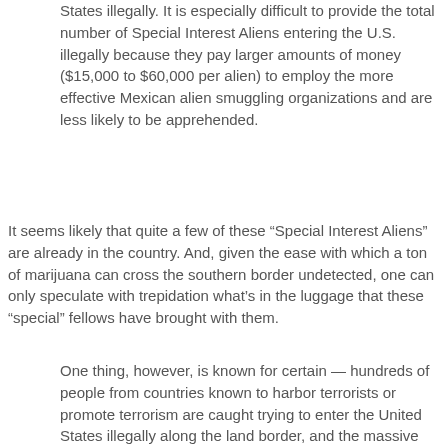States illegally. It is especially difficult to provide the total number of Special Interest Aliens entering the U.S. illegally because they pay larger amounts of money ($15,000 to $60,000 per alien) to employ the more effective Mexican alien smuggling organizations and are less likely to be apprehended.
It seems likely that quite a few of these “Special Interest Aliens” are already in the country. And, given the ease with which a ton of marijuana can cross the southern border undetected, one can only speculate with trepidation what’s in the luggage that these “special” fellows have brought with them.
One thing, however, is known for certain — hundreds of people from countries known to harbor terrorists or promote terrorism are caught trying to enter the United States illegally along the land border, and the massive flow of